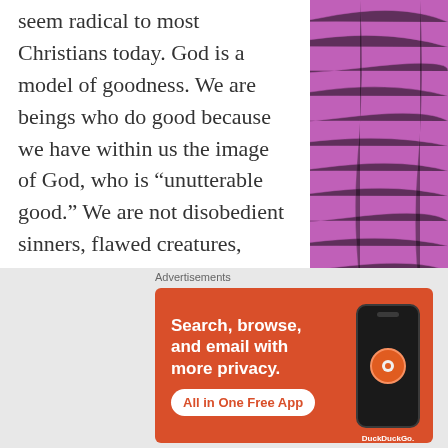seem radical to most Christians today. God is a model of goodness. We are beings who do good because we have within us the image of God, who is “unutterable good.” We are not disobedient sinners, flawed creatures, depraved souls bound to sin with no good in us. We each have what Channing called the Divine Seed within.
Channing didn’t claim we did
[Figure (other): DuckDuckGo advertisement banner: orange/red background with text 'Search, browse, and email with more privacy.' and 'All in One Free App' button, with a phone mockup showing the DuckDuckGo logo and branding.]